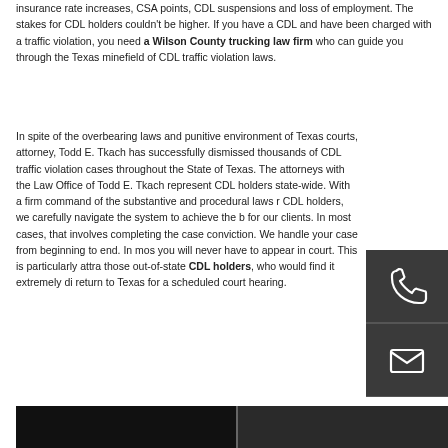insurance rate increases, CSA points, CDL suspensions and loss of employment. The stakes for CDL holders couldn't be higher. If you have a CDL and have been charged with a traffic violation, you need a Wilson County trucking law firm who can guide you through the Texas minefield of CDL traffic violation laws.
In spite of the overbearing laws and punitive environment of Texas courts, attorney, Todd E. Tkach has successfully dismissed thousands of CDL traffic violation cases throughout the State of Texas. The attorneys with the Law Office of Todd E. Tkach represent CDL holders state-wide. With a firm command of the substantive and procedural laws related to CDL holders, we carefully navigate the system to achieve the best results for our clients. In most cases, that involves completing the case without a conviction. We handle your case from beginning to end. In most cases, you will never have to appear in court. This is particularly attractive to those out-of-state CDL holders, who would find it extremely difficult to return to Texas for a scheduled court hearing.
[Figure (photo): Photo strip at bottom showing what appears to be a truck interior/exterior scene]